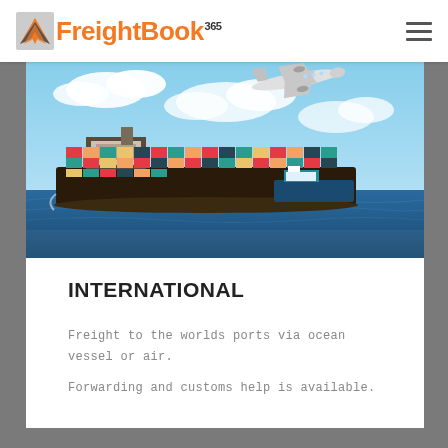FreightBook 365
[Figure (photo): Large cargo container ship loaded with colorful shipping containers on open water, with a smaller blue tugboat alongside, and a commercial airplane flying overhead against a blue cloudy sky.]
INTERNATIONAL
Freight to the worlds ports via ocean vessel or air.
Forwarding and customs help is available.